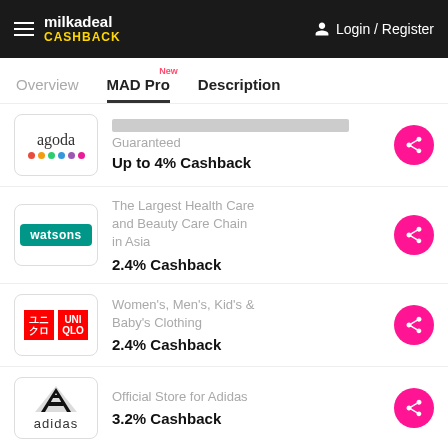milkadeal CASHBACK  Login / Register
Overview  MAD Pro New  Description
with the Best Price Guaranteed
Up to 4% Cashback
The Largest Health Care and Beauty Care Chain in Asia
2.4% Cashback
Women's, Men's, Kid's & Baby's Clothing
2.4% Cashback
Official Store for Adidas
3.2% Cashback